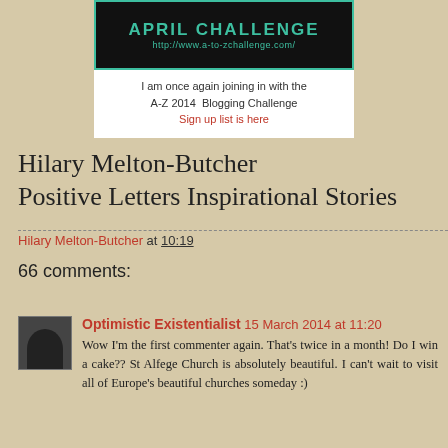[Figure (illustration): April Challenge banner with black background, teal border, teal text 'APRIL CHALLENGE' and URL 'http://www.a-to-zchallenge.com/']
I am once again joining in with the A-Z 2014  Blogging Challenge Sign up list is here
Hilary Melton-Butcher
Positive Letters Inspirational Stories
Hilary Melton-Butcher at 10:19
66 comments:
Optimistic Existentialist 15 March 2014 at 11:20
Wow I'm the first commenter again. That's twice in a month! Do I win a cake?? St Alfege Church is absolutely beautiful. I can't wait to visit all of Europe's beautiful churches someday :)